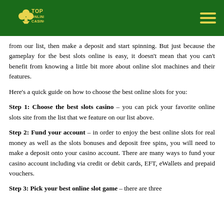TOP ONLINE CASINOS
from our list, then make a deposit and start spinning. But just because the gameplay for the best slots online is easy, it doesn't mean that you can't benefit from knowing a little bit more about online slot machines and their features.
Here's a quick guide on how to choose the best online slots for you:
Step 1: Choose the best slots casino – you can pick your favorite online slots site from the list that we feature on our list above.
Step 2: Fund your account – in order to enjoy the best online slots for real money as well as the slots bonuses and deposit free spins, you will need to make a deposit onto your casino account. There are many ways to fund your casino account including via credit or debit cards, EFT, eWallets and prepaid vouchers.
Step 3: Pick your best online slot game – there are three